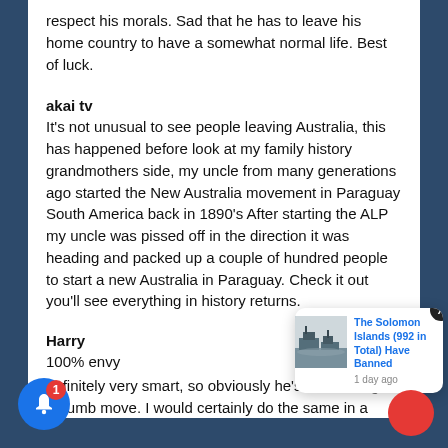respect his morals. Sad that he has to leave his home country to have a somewhat normal life. Best of luck.
akai tv
It's not unusual to see people leaving Australia, this has happened before look at my family history grandmothers side, my uncle from many generations ago started the New Australia movement in Paraguay South America back in 1890's After starting the ALP my uncle was pissed off in the direction it was heading and packed up a couple of hundred people to start a new Australia in Paraguay. Check it out you'll see everything in history returns.
Harry
100% envy
definitely very smart, so obviously he's not making a dumb move. I would certainly do the same in a
[Figure (screenshot): Notification card showing 'The Solomon Islands (992 in Total) Have Banned' with a ship image, timestamp '1 day ago', and a close X button. Also shows a blue bell notification circle with badge '1' and a red circle.]